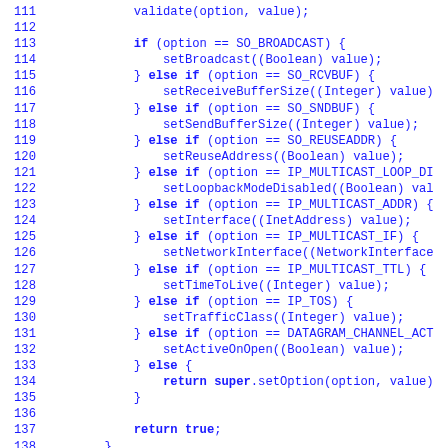[Figure (screenshot): Java source code snippet showing lines 111-138, a series of if/else if/else conditions setting socket options based on the option parameter, with bold keywords (if, else, return, super) in monospace blue font on white background.]